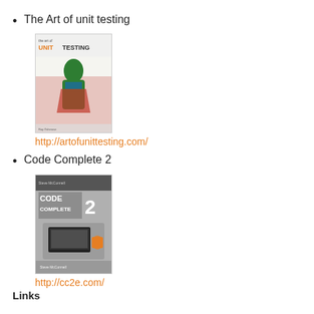The Art of unit testing
[Figure (illustration): Book cover of 'The Art of Unit Testing' showing a warrior figure in colorful robes with red and blue tones, with the title text prominently displayed]
http://artofunittesting.com/
Code Complete 2
[Figure (illustration): Book cover of 'Code Complete 2' showing a grey cover with text CODE COMPLETE 2 and an image of a laptop with a coffee cup]
http://cc2e.com/
Links